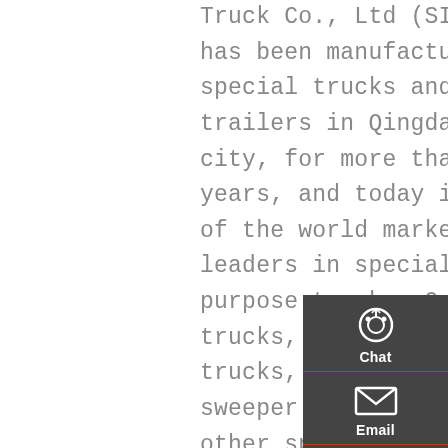Truck Co., Ltd (SINOHFTC) has been manufacturing special trucks and semi trailers in Qingdao city, for more than 65 years, and today is one of the world market leaders in special purpose trucks. Our dump trucks, concrete mixer trucks, garbage trucks, sweeper trucks, and other special trucks have been exporting to more than
[Figure (infographic): Dark sidebar with Chat (headset icon), Email (envelope icon), Contact (speech bubble icon), and Top (up arrow icon) buttons arranged vertically with red dividers.]